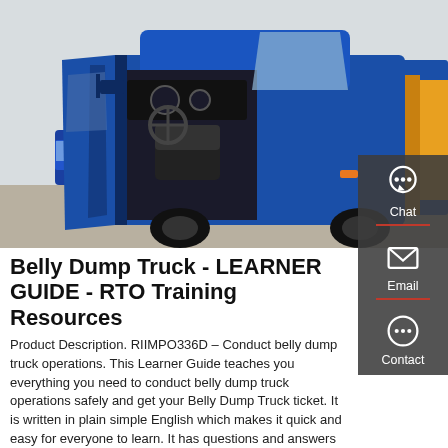[Figure (photo): Blue dump truck with open cab door showing interior, photographed from the left side. Chinese text visible on cab panel. Another blue truck in background.]
Belly Dump Truck - LEARNER GUIDE - RTO Training Resources
Product Description. RIIMPO336D – Conduct belly dump truck operations. This Learner Guide teaches you everything you need to conduct belly dump truck operations safely and get your Belly Dump Truck ticket. It is written in plain simple English which makes it quick and easy for everyone to learn. It has questions and answers to get you ready for the types